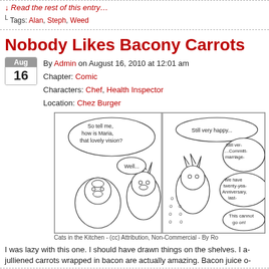↓ Read the rest of this entry…
⌐ Tags: Alan, Steph, Weed
Nobody Likes Bacony Carrots
By Admin on August 16, 2010 at 12:01 am
Chapter: Comic
Characters: Chef, Health Inspector
Location: Chez Burger
[Figure (illustration): Two-panel comic strip showing anthropomorphic cat characters in a kitchen setting. Left panel: speech bubble says 'So tell me, how is Maria, that lovely vision?' and 'Well...' Right panel: speech bubble says 'Still very happy...' 'Still ver.... Committ- marriage-' 'We have twenty-yea- Anniversary, last-' 'This cannot go on!']
Cats in the Kitchen - (cc) Attribution, Non-Commercial - By Ro
I was lazy with this one. I should have drawn things on the shelves. I a- julliened carrots wrapped in bacon are actually amazing. Bacon juice o-
↓ Read the rest of this entry…